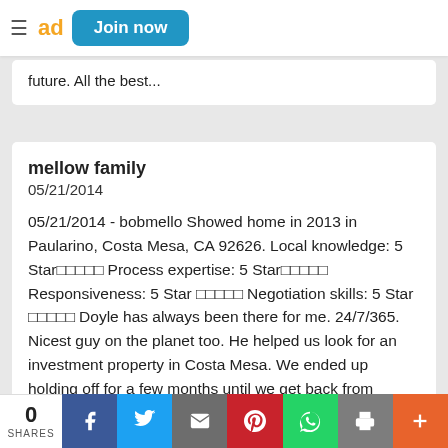ad | Join now
future. All the best...
mellow family
05/21/2014

05/21/2014 - bobmello Showed home in 2013 in Paularino, Costa Mesa, CA 92626. Local knowledge: 5 Star⭐⭐⭐⭐⭐ Process expertise: 5 Star⭐⭐⭐⭐⭐ Responsiveness: 5 Star ⭐⭐⭐⭐⭐ Negotiation skills: 5 Star ⭐⭐⭐⭐⭐ Doyle has always been there for me. 24/7/365. Nicest guy on the planet too. He helped us look for an investment property in Costa Mesa. We ended up holding off for a few months until we get back from Europe and Doyle was ready to work. Response from Doyle on05/21/2014 Mr. Mellow yellow... It's always a pleasure getting those calls from
0 SHARES | Facebook | Twitter | Email | Pinterest | WhatsApp | Print | +